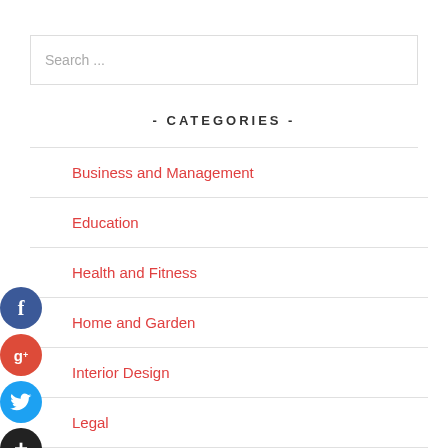Search ...
- CATEGORIES -
Business and Management
Education
Health and Fitness
Home and Garden
Interior Design
Legal